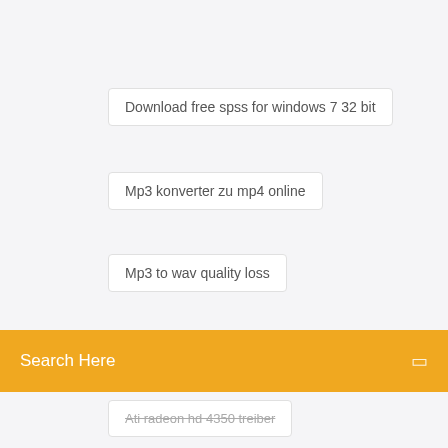Download free spss for windows 7 32 bit
Mp3 konverter zu mp4 online
Mp3 to wav quality loss
Search Here
Ati radeon hd 4350 treiber
Konverter pdf to ppt kostenlos online
Wie lösche ich mein geburtsdatum bei xing
Newsletter